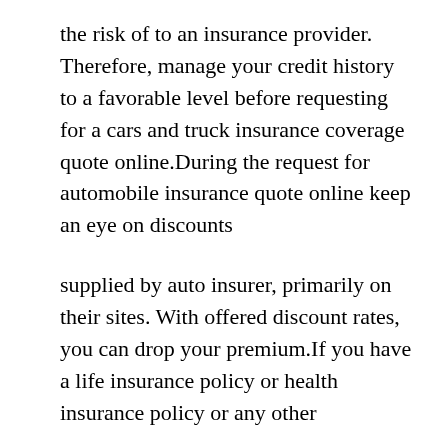the risk of to an insurance provider. Therefore, manage your credit history to a favorable level before requesting for a cars and truck insurance coverage quote online.During the request for automobile insurance quote online keep an eye on discounts
supplied by auto insurer, primarily on their sites. With offered discount rates, you can drop your premium.If you have a life insurance policy or health insurance policy or any other
insurance coverage, it is recommended to ask the same insurance provider for auto insurance. They will surely provide lower cars and truck insurance coverage quote online, as you are